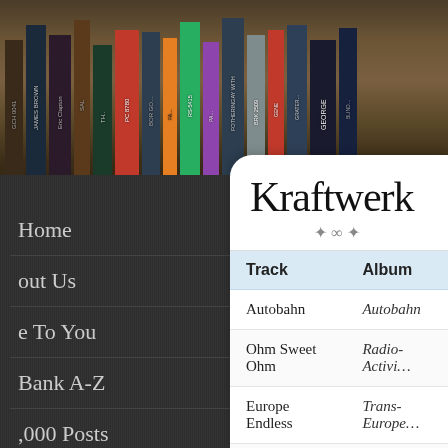[Figure (photo): Bookshelf background photo showing spines of books and vinyl records with various labels and titles, viewed from the side]
Home
out Us
e To You
Bank A-Z
,000 Posts
onology
Kraftwerk
| Track | Album |
| --- | --- |
| Autobahn | Autobahn |
| Ohm Sweet Ohm | Radio-Activi… |
| Europe Endless | Trans-Europe… |
| Showroom Dummies | Trans-Europe… |
| The Model | The Man-Ma… |
| Neon Lights | The Man-Ma… |